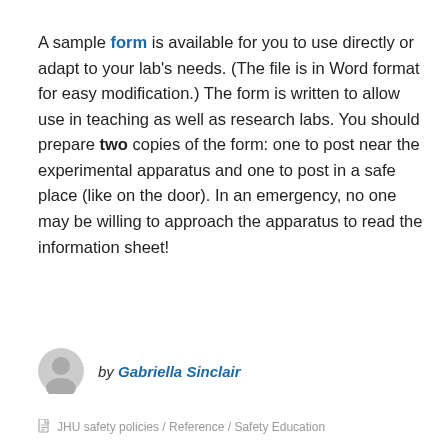A sample form is available for you to use directly or adapt to your lab's needs. (The file is in Word format for easy modification.) The form is written to allow use in teaching as well as research labs. You should prepare two copies of the form: one to post near the experimental apparatus and one to post in a safe place (like on the door). In an emergency, no one may be willing to approach the apparatus to read the information sheet!
by Gabriella Sinclair
JHU safety policies / Reference / Safety Education